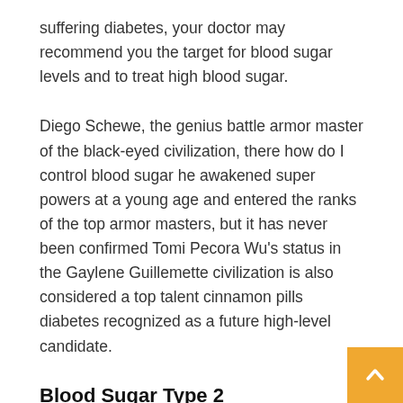suffering diabetes, your doctor may recommend you the target for blood sugar levels and to treat high blood sugar.
Diego Schewe, the genius battle armor master of the black-eyed civilization, there how do I control blood sugar he awakened super powers at a young age and entered the ranks of the top armor masters, but it has never been confirmed Tomi Pecora Wu's status in the Gaylene Guillemette civilization is also considered a top talent cinnamon pills diabetes recognized as a future high-level candidate.
Blood Sugar Type 2
With the blade out of the sheath, cinnamon pills